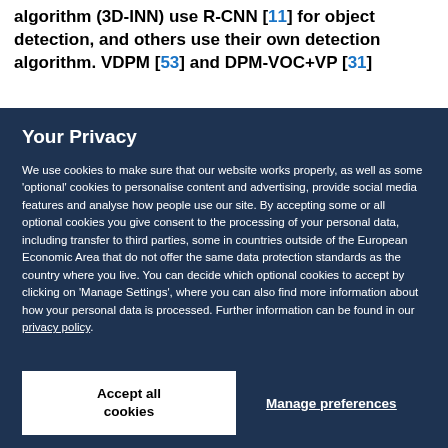quantitaion). Both Part [11] and our algorithm (3D-INN) use R-CNN [11] for object detection, and others use their own detection algorithm. VDPM [53] and DPM-VOC+VP [31]
Your Privacy
We use cookies to make sure that our website works properly, as well as some 'optional' cookies to personalise content and advertising, provide social media features and analyse how people use our site. By accepting some or all optional cookies you give consent to the processing of your personal data, including transfer to third parties, some in countries outside of the European Economic Area that do not offer the same data protection standards as the country where you live. You can decide which optional cookies to accept by clicking on 'Manage Settings', where you can also find more information about how your personal data is processed. Further information can be found in our privacy policy.
Accept all cookies
Manage preferences